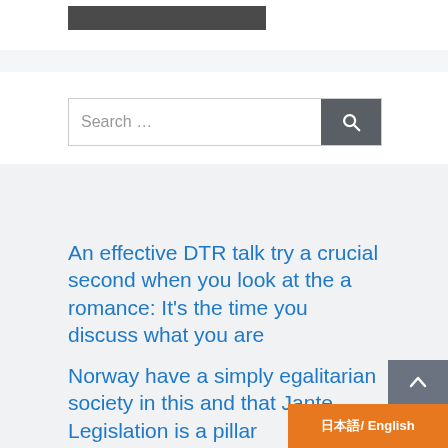Search …
An effective DTR talk try a crucial second when you look at the a romance: It's the time you discuss what you are
Norway have a simply egalitarian society in this and that Jante Legislation is a pillar
It offers destroyed what you wh
中文/ English